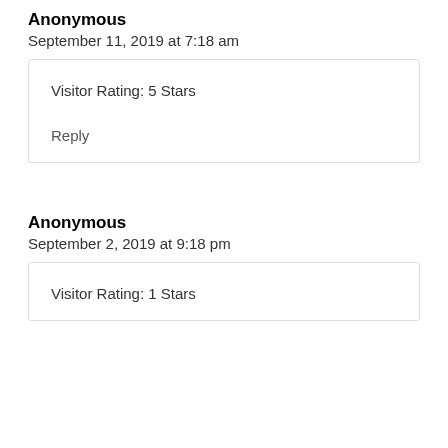Anonymous
September 11, 2019 at 7:18 am
Visitor Rating: 5 Stars
Reply
Anonymous
September 2, 2019 at 9:18 pm
Visitor Rating: 1 Stars